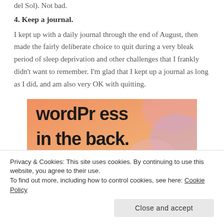del Sol). Not bad.
4. Keep a journal.
I kept up with a daily journal through the end of August, then made the fairly deliberate choice to quit during a very bleak period of sleep deprivation and other challenges that I frankly didn't want to remember. I'm glad that I kept up a journal as long as I did, and am also very OK with quitting.
[Figure (illustration): Advertisement image showing text 'wordpress in the back.' on an orange/pink gradient background with abstract shapes]
Privacy & Cookies: This site uses cookies. By continuing to use this website, you agree to their use.
To find out more, including how to control cookies, see here: Cookie Policy
Close and accept